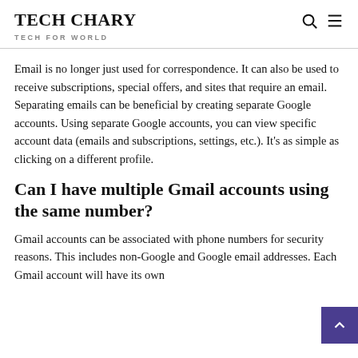TECH CHARY   TECH FOR WORLD
Email is no longer just used for correspondence. It can also be used to receive subscriptions, special offers, and sites that require an email. Separating emails can be beneficial by creating separate Google accounts. Using separate Google accounts, you can view specific account data (emails and subscriptions, settings, etc.). It’s as simple as clicking on a different profile.
Can I have multiple Gmail accounts using the same number?
Gmail accounts can be associated with phone numbers for security reasons. This includes non-Google and Google email addresses. Each Gmail account will have its own